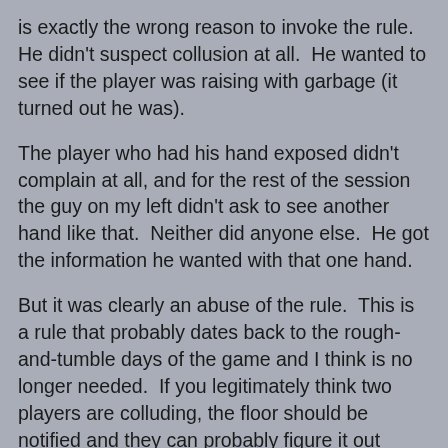is exactly the wrong reason to invoke the rule.  He didn't suspect collusion at all.  He wanted to see if the player was raising with garbage (it turned out he was).
The player who had his hand exposed didn't complain at all, and for the rest of the session the guy on my left didn't ask to see another hand like that.  Neither did anyone else.  He got the information he wanted with that one hand.
But it was clearly an abuse of the rule.  This is a rule that probably dates back to the rough-and-tumble days of the game and I think is no longer needed.  If you legitimately think two players are colluding, the floor should be notified and they can probably figure it out rather easily.  And if you think a person is raising with garbage, surely that information will be revealed legitimately sooner rather than later.
As it happens, the great poker writer Tommy Angelo has written about this and he agrees with me (or, I agree with him if you prefer).  You can see an article he wrote about it here, and this was recently re-published  somewhere very recently.  When I saw it, I thought, well, it's so rarely invoked